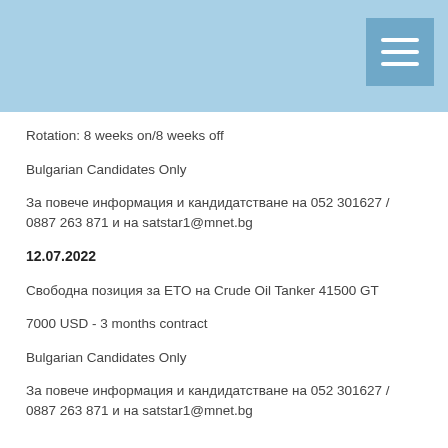Rotation: 8 weeks on/8 weeks off
Bulgarian Candidates Only
За повече информация и кандидатстване на 052 301627 / 0887 263 871 и на satstar1@mnet.bg
12.07.2022
Свободна позиция за ETO на Crude Oil Tanker 41500 GT
7000 USD  - 3 months contract
Bulgarian Candidates Only
За повече информация и кандидатстване на 052 301627 / 0887 263 871 и на satstar1@mnet.bg